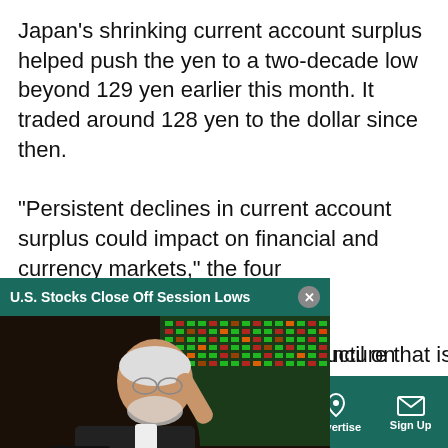Japan's shrinking current account surplus helped push the yen to a two-decade low beyond 129 yen earlier this month. It traded around 128 yen to the dollar since then.
“Persistent declines in current account surplus could impact on financial and currency markets,” the four [council on Economic]
[Figure (screenshot): Video popup overlay showing 'U.S. Stocks Close Off Session Lows' headline with a photo of a trader on the stock exchange floor, with a mute button icon and close button.]
[panel] is comprised of [Bank of Japan Governor]
“We must build an economic structure that is resilient
Sections  NY Edition  Philly  Games  Advertise  Sign Up